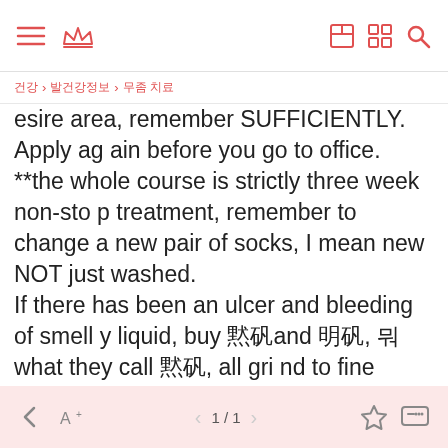App navigation header with hamburger menu, crown icon, grid icons, and search icon
건강 > 발건강정보 > 무좀 치료
esire area, remember SUFFICIENTLY. Apply again before you go to office.
**the whole course is strictly three week non-stop treatment, remember to change a new pair of socks, I mean new NOT just washed.
If there has been an ulcer and bleeding of smelly liquid, buy 백반and 명반, 뭐 what they call 백반, all grind to fine powder, spread the powder to the horrible ulcer, until it is recovered, Then step 1 to 3 can be started, one more thing you need to do---send me email while the foot become fragrant a
← A+ < 1/1 > ☆ ...